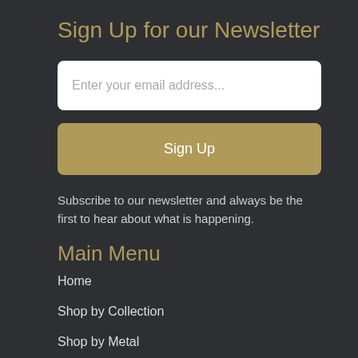Sign Up for our Newsletter
Enter your email address...
Sign Up
Subscribe to our newsletter and always be the first to hear about what is happening.
Main Menu
Home
Shop by Collection
Shop by Metal
About Us
Ring Sizer